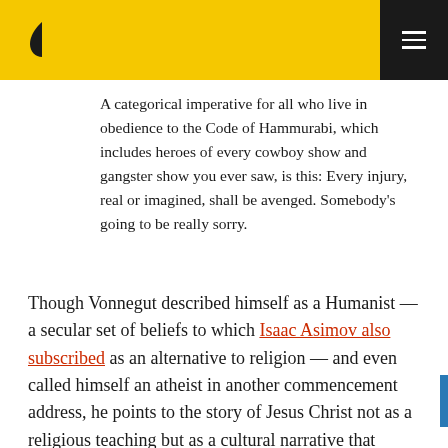Vonnegut logo and navigation menu
A categorical imperative for all who live in obedience to the Code of Hammurabi, which includes heroes of every cowboy show and gangster show you ever saw, is this: Every injury, real or imagined, shall be avenged. Somebody’s going to be really sorry.
Though Vonnegut described himself as a Humanist — a secular set of beliefs to which Isaac Asimov also subscribed as an alternative to religion — and even called himself an atheist in another commencement address, he points to the story of Jesus Christ not as a religious teaching but as a cultural narrative that bequeaths a